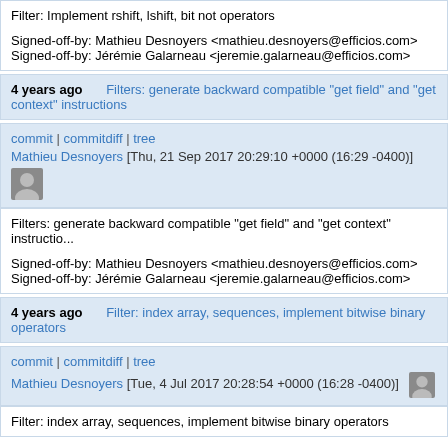Filter: Implement rshift, lshift, bit not operators

Signed-off-by: Mathieu Desnoyers <mathieu.desnoyers@efficios.com>
Signed-off-by: Jérémie Galarneau <jeremie.galarneau@efficios.com>
4 years ago   Filters: generate backward compatible "get field" and "get context" instructions
commit | commitdiff | tree
Mathieu Desnoyers [Thu, 21 Sep 2017 20:29:10 +0000 (16:29 -0400)]
Filters: generate backward compatible "get field" and "get context" instructio...

Signed-off-by: Mathieu Desnoyers <mathieu.desnoyers@efficios.com>
Signed-off-by: Jérémie Galarneau <jeremie.galarneau@efficios.com>
4 years ago   Filter: index array, sequences, implement bitwise binary operators
commit | commitdiff | tree
Mathieu Desnoyers [Tue, 4 Jul 2017 20:28:54 +0000 (16:28 -0400)]
Filter: index array, sequences, implement bitwise binary operators